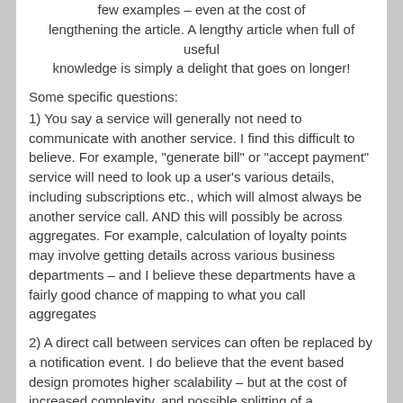few examples – even at the cost of lengthening the article. A lengthy article when full of useful knowledge is simply a delight that goes on longer!
Some specific questions:
1) You say a service will generally not need to communicate with another service. I find this difficult to believe. For example, "generate bill" or "accept payment" service will need to look up a user's various details, including subscriptions etc., which will almost always be another service call. AND this will possibly be across aggregates. For example, calculation of loyalty points may involve getting details across various business departments – and I believe these departments have a fairly good chance of mapping to what you call aggregates
2) A direct call between services can often be replaced by a notification event. I do believe that the event based design promotes higher scalability – but at the cost of increased complexity, and possible splitting of a transaction into two or more transactions. For example, when a user purchases an item, his or her profile may or may not change depending on the $ amount of purchase. So item purchase and loyalty points change may be two different services, and they could communicate via notifications. Design options A and B:
A) Create two services – item purchase, and loyalty adjustment.